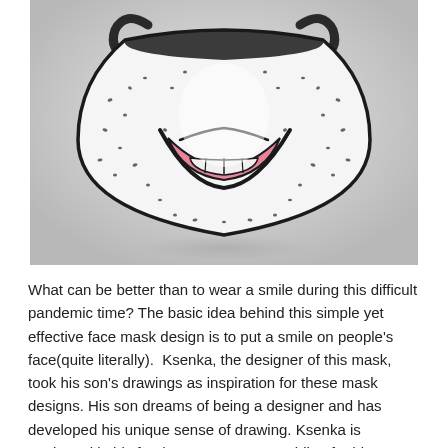[Figure (photo): A white face mask with a cartoon-style smiling mouth design printed on it — featuring a large illustrated smile with pink lips and teeth, surrounded by black dot freckle pattern. The mask has dark ear loops. Photographed on a light gray gradient background.]
What can be better than to wear a smile during this difficult pandemic time? The basic idea behind this simple yet effective face mask design is to put a smile on people's face(quite literally).  Ksenka, the designer of this mask, took his son's drawings as inspiration for these mask designs. His son dreams of being a designer and has developed his unique sense of drawing. Ksenka is motivated in his freelance career to providing for his son. Simultaneously, since his kid wants to